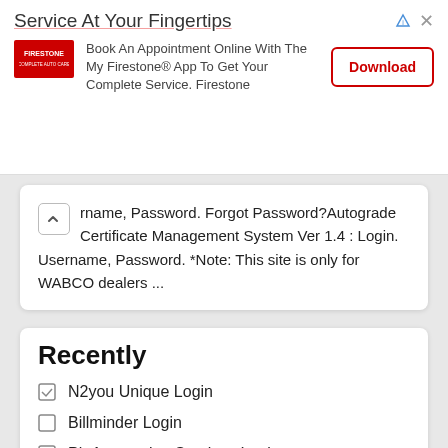[Figure (infographic): Advertisement banner for Firestone app. Title: Service At Your Fingertips. Body: Book An Appointment Online With The My Firestone® App To Get Your Complete Service. Firestone. Includes Firestone logo and Download button.]
rname, Password. Forgot Password?Autograde Certificate Management System Ver 1.4 : Login. Username, Password. *Note: This site is only for WABCO dealers ...
Recently
N2you Unique Login
Billminder Login
Pb Accounting Services Login
Waites Wireless Login
Netbags Com Login
Tapestry Login Kate Spade